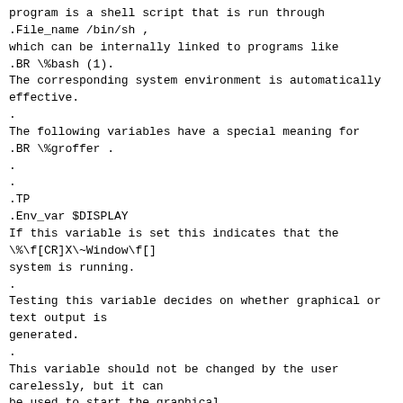program is a shell script that is run through
.File_name /bin/sh ,
which can be internally linked to programs like
.BR \%bash (1).
The corresponding system environment is automatically
effective.
.
The following variables have a special meaning for
.BR \%groffer .
.
.
.TP
.Env_var $DISPLAY
If this variable is set this indicates that the
\%\f[CR]X\~Window\f[]
system is running.
.
Testing this variable decides on whether graphical or
text output is
generated.
.
This variable should not be changed by the user
carelessly, but it can
be used to start the graphical
.B \%groffer
on a remote \%\f[CR]X\~Window\f[] terminal.
.
For example, depending on your system,
.B \%groffer
can be started on the second monitor by the command